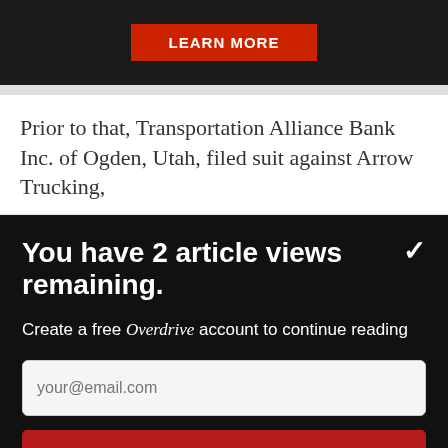[Figure (screenshot): Advertisement banner with dark background showing a 'LEARN MORE' button in red]
Prior to that, Transportation Alliance Bank Inc. of Ogden, Utah, filed suit against Arrow Trucking,
You have 2 article views remaining.
Create a free Overdrive account to continue reading
your@email.com
CONTINUE